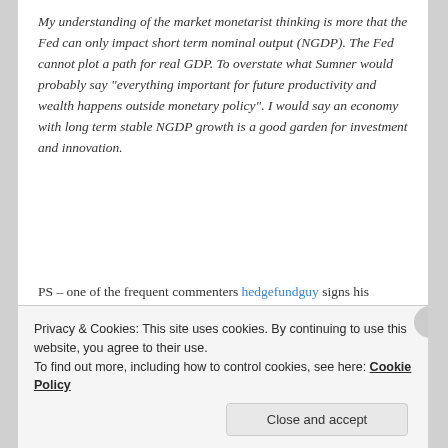My understanding of the market monetarist thinking is more that the Fed can only impact short term nominal output (NGDP). The Fed cannot plot a path for real GDP. To overstate what Sumner would probably say “everything important for future productivity and wealth happens outside monetary policy”. I would say an economy with long term stable NGDP growth is a good garden for investment and innovation.
PS – one of the frequent commenters hedgefundguy signs his remarks “NPWFTL, Regards”. Like many others I’m wondering what?? I finally found his answer – which refers to disabling the default Economist publish-comment everywhere:
Privacy & Cookies: This site uses cookies. By continuing to use this website, you agree to their use.
To find out more, including how to control cookies, see here: Cookie Policy